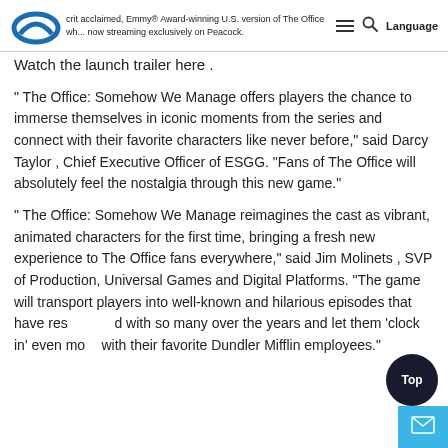crit acclaimed, Emmy® Award-winning U.S. version of The Office wh... now streaming exclusively on Peacock.
Watch the launch trailer here .
" The Office: Somehow We Manage offers players the chance to immerse themselves in iconic moments from the series and connect with their favorite characters like never before," said Darcy Taylor , Chief Executive Officer of ESGG. "Fans of The Office will absolutely feel the nostalgia through this new game."
" The Office: Somehow We Manage reimagines the cast as vibrant, animated characters for the first time, bringing a fresh new experience to The Office fans everywhere," said Jim Molinets , SVP of Production, Universal Games and Digital Platforms. "The game will transport players into well-known and hilarious episodes that have resonated with so many over the years and let them 'clock in' even more with their favorite Dundler Mifflin employees."